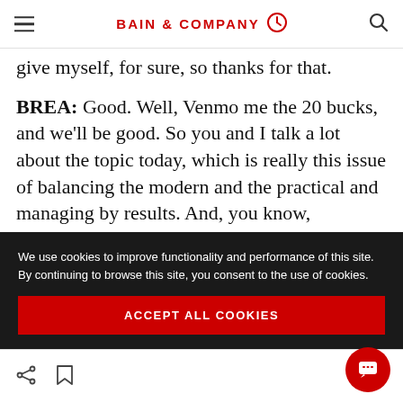BAIN & COMPANY
give myself, for sure, so thanks for that.
BREA: Good. Well, Venmo me the 20 bucks, and we'll be good. So you and I talk a lot about the topic today, which is really this issue of balancing the modern and the practical and managing by results. And, you know, essentially
We use cookies to improve functionality and performance of this site. By continuing to browse this site, you consent to the use of cookies.
ACCEPT ALL COOKIES